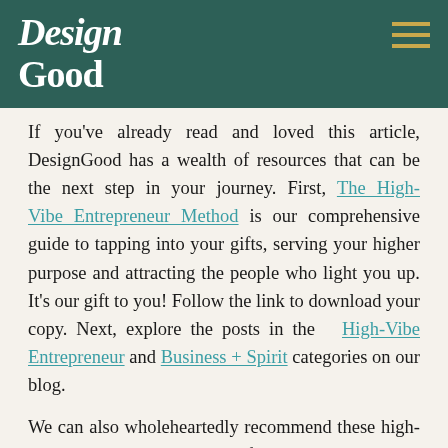DesignGood
If you've already read and loved this article, DesignGood has a wealth of resources that can be the next step in your journey. First, The High-Vibe Entrepreneur Method is our comprehensive guide to tapping into your gifts, serving your higher purpose and attracting the people who light you up. It's our gift to you! Follow the link to download your copy. Next, explore the posts in the High-Vibe Entrepreneur and Business + Spirit categories on our blog.
We can also wholeheartedly recommend these high-vibe DesignGood clients and friends:
Joshua Smith offers personal and